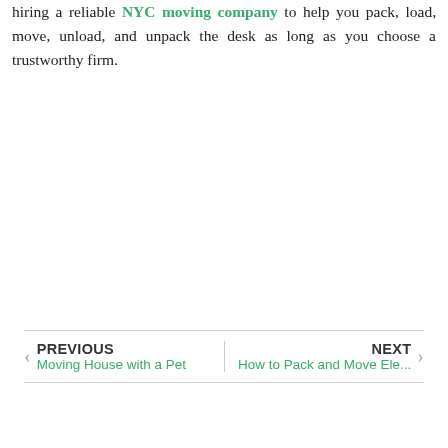hiring a reliable NYC moving company to help you pack, load, move, unload, and unpack the desk as long as you choose a trustworthy firm.
PREVIOUS | Moving House with a Pet | NEXT | How to Pack and Move Ele...
[Figure (screenshot): Facebook like widget showing 47k likes with a blue Facebook button and thumbs up icon]